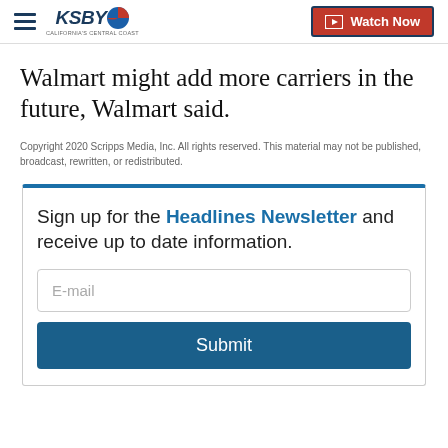KSBY - California's Central Coast | Watch Now
Walmart might add more carriers in the future, Walmart said.
Copyright 2020 Scripps Media, Inc. All rights reserved. This material may not be published, broadcast, rewritten, or redistributed.
Sign up for the Headlines Newsletter and receive up to date information.